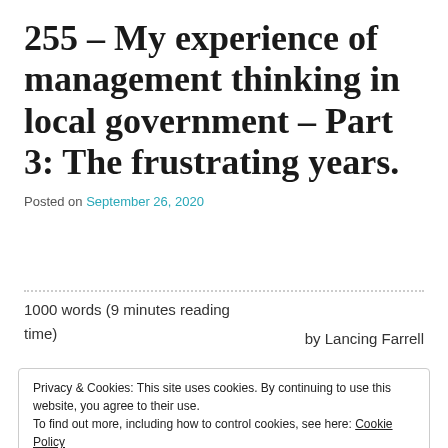255 – My experience of management thinking in local government – Part 3: The frustrating years.
Posted on September 26, 2020
1000 words (9 minutes reading time)
by Lancing Farrell
Privacy & Cookies: This site uses cookies. By continuing to use this website, you agree to their use.
To find out more, including how to control cookies, see here: Cookie Policy
Close and accept